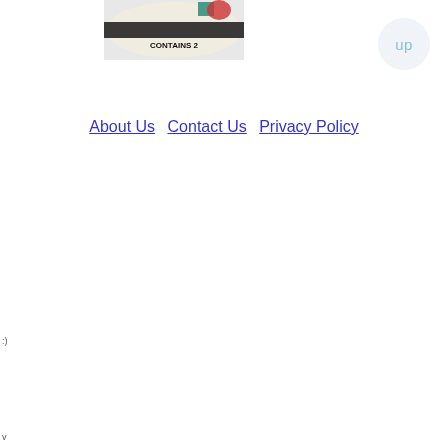[Figure (photo): Product photo showing a package labeled 'CONTAINS 2' with what appears to be a syringe/medical device product]
up
About Us  Contact Us  Privacy Policy
:)
v